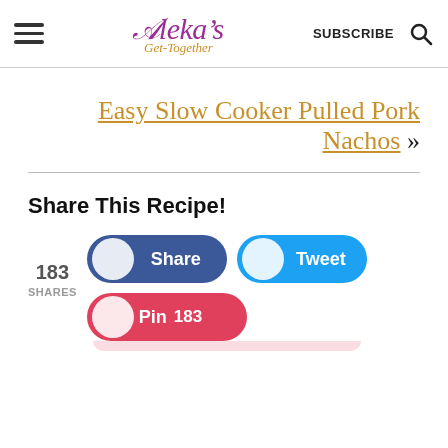Aleka's Get-Together — SUBSCRIBE [search icon]
Easy Slow Cooker Pulled Pork Nachos »
Share This Recipe!
183 SHARES
[Figure (infographic): Social share buttons: Share (Facebook, blue), Tweet (Twitter, blue), Pin 183 (Pinterest, red)]